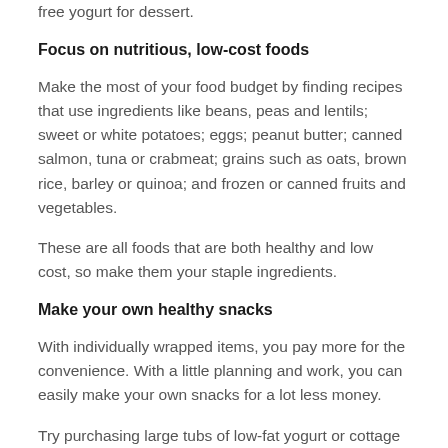free yogurt for dessert.
Focus on nutritious, low-cost foods
Make the most of your food budget by finding recipes that use ingredients like beans, peas and lentils; sweet or white potatoes; eggs; peanut butter; canned salmon, tuna or crabmeat; grains such as oats, brown rice, barley or quinoa; and frozen or canned fruits and vegetables.
These are all foods that are both healthy and low cost, so make them your staple ingredients.
Make your own healthy snacks
With individually wrapped items, you pay more for the convenience. With a little planning and work, you can easily make your own snacks for a lot less money.
Try purchasing large tubs of low-fat yogurt or cottage